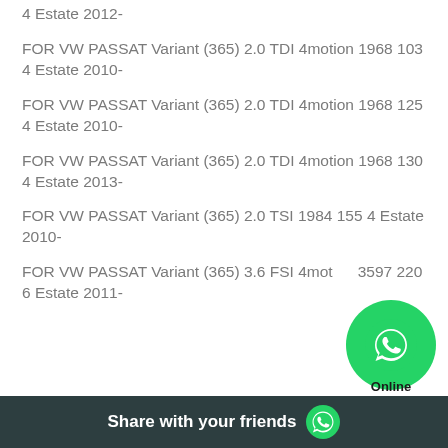4 Estate 2012-
FOR VW PASSAT Variant (365) 2.0 TDI 4motion 1968 103 4 Estate 2010-
FOR VW PASSAT Variant (365) 2.0 TDI 4motion 1968 125 4 Estate 2010-
FOR VW PASSAT Variant (365) 2.0 TDI 4motion 1968 130 4 Estate 2013-
FOR VW PASSAT Variant (365) 2.0 TSI 1984 155 4 Estate 2010-
FOR VW PASSAT Variant (365) 3.6 FSI 4motion 3597 220 6 Estate 2011-
Share with your friends